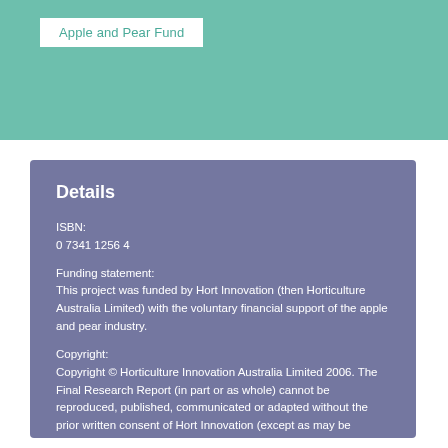Apple and Pear Fund
Details
ISBN:
0 7341 1256 4

Funding statement:
This project was funded by Hort Innovation (then Horticulture Australia Limited) with the voluntary financial support of the apple and pear industry.

Copyright:
Copyright © Horticulture Innovation Australia Limited 2006. The Final Research Report (in part or as whole) cannot be reproduced, published, communicated or adapted without the prior written consent of Hort Innovation (except as may be permitted under the Copyright Act 1968 (Cth)).